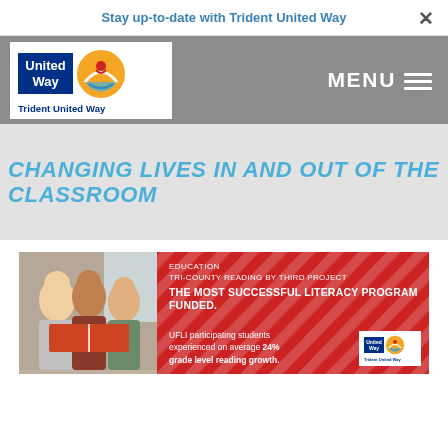Stay up-to-date with Trident United Way
[Figure (logo): Trident United Way / United Way logo with blue box and orange sun graphic]
MENU
CHANGING LIVES IN AND OUT OF THE CLASSROOM
[Figure (infographic): Red banner card with diagonal white stripes, photo of children reading, text: EDUCATION / TRI-COUNTY READING BY THIRD PROJECT / THE MOST SUCCESSFUL LITERACY PROGRAM FUNDED. / UFLI participating students experienced on average 24% grade level reading growth. / United Way Trident United Way logo]